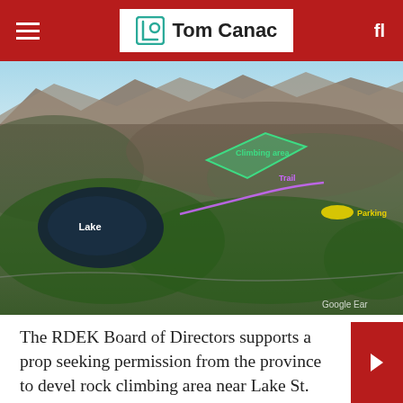Tom Canac
[Figure (map): Google Earth 3D satellite map showing mountainous terrain with a lake labeled 'Lake' on the left, a green-outlined 'Climbing area' in the center, a purple 'Trail' line, and a yellow oval 'Parking' marker. 'Google Ear' watermark visible bottom right.]
The RDEK Board of Directors supports a prop seeking permission from the province to devel rock climbing area near Lake St. Mary.